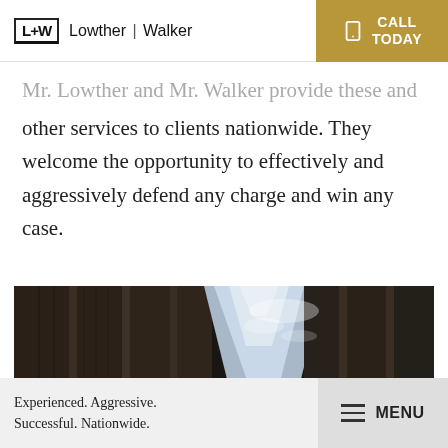L+W Lowther | Walker
...Lowther and Mr. Walker provide these and other services to clients nationwide. They welcome the opportunity to effectively and aggressively defend any charge and win any case.
[Figure (photo): Looking up between large stone columns at a bright blue sky with clouds, dark architectural photo suggesting a courthouse or government building.]
Experienced. Aggressive. Successful. Nationwide.
MENU